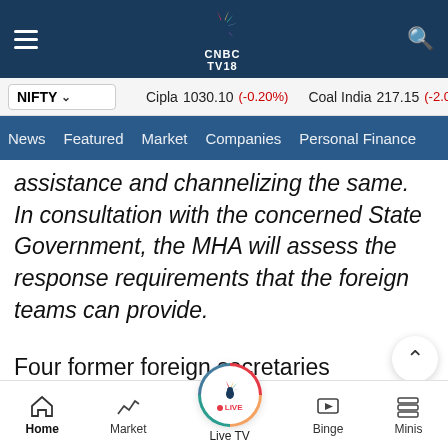[Figure (screenshot): CNBC TV18 mobile app top navigation bar with hamburger menu, CNBC TV18 peacock logo, and search icon on dark navy background]
NIFTY ▾   Cipla 1030.10 (-0.20%)   Coal India 217.15 (-2.07%)   Divis
News   Featured   Market   Companies   Personal Finance
assistance and channelizing the same. In consultation with the concerned State Government, the MHA will assess the response requirements that the foreign teams can provide.
Four former foreign secretaries confirmed that the principle of not accepting monetary aid has been in
Home   Market   Live TV   Binge   Minis